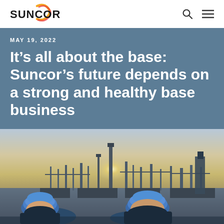Suncor
MAY 19, 2022
It’s all about the base: Suncor’s future depends on a strong and healthy base business
[Figure (photo): Two workers in blue hard hats viewing an industrial oil refinery facility at dusk/dawn with tall structures and pipework visible in the background against a bright sky.]